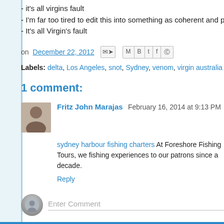- it's all virgins fault
- I'm far too tired to edit this into something as coherent and poetic as my
- It's all Virgin's fault
on December 22, 2012  [share icons]
Labels: delta, Los Angeles, snot, Sydney, venom, virgin australia
1 comment:
Fritz John Marajas  February 16, 2014 at 9:13 PM
sydney harbour fishing charters At Foreshore Fishing Tours, we fishing experiences to our patrons since a decade.
Reply
Enter Comment